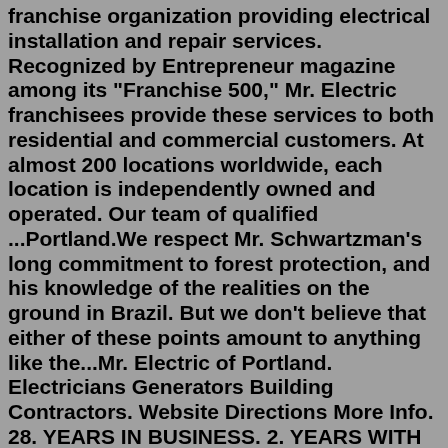franchise organization providing electrical installation and repair services. Recognized by Entrepreneur magazine among its "Franchise 500," Mr. Electric franchisees provide these services to both residential and commercial customers. At almost 200 locations worldwide, each location is independently owned and operated. Our team of qualified ...Portland.We respect Mr. Schwartzman's long commitment to forest protection, and his knowledge of the realities on the ground in Brazil. But we don't believe that either of these points amount to anything like the...Mr. Electric of Portland. Electricians Generators Building Contractors. Website Directions More Info. 28. YEARS IN BUSINESS. 2. YEARS WITH (503) 388-4868. 5933 NE Win Sivers Dr Ste 205. Portland, OR 97220. OPEN 24 Hours. From Business: If you are looking for the best electrician in Portland, OR or Vancouver, WA, call Mr Electric today! We will ...Dec 02, 2018 · Vancouver, WA. 12/02/2018. 5. Mr. Electric answered the phone on the first call, and scheduled a technician to come out the